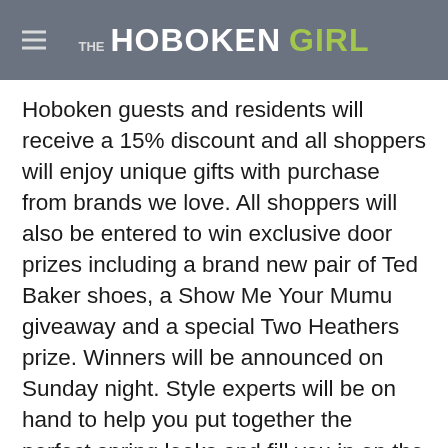THE HOBOKEN GIRL
Hoboken guests and residents will receive a 15% discount and all shoppers will enjoy unique gifts with purchase from brands we love. All shoppers will also be entered to win exclusive door prizes including a brand new pair of Ted Baker shoes, a Show Me Your Mumu giveaway and a special Two Heathers prize. Winners will be announced on Sunday night. Style experts will be on hand to help you put together the perfect spring looks and fill you in on the best styles to flatter your figure Hoboken Girl's favorite style contributor, Tiffany Piñero, will be on site Friday from 6:00 PM – 8:00 PM and